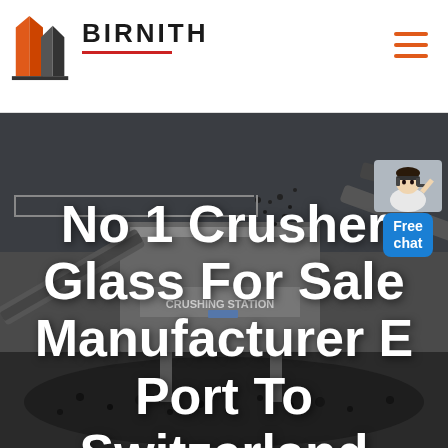[Figure (logo): Birnith company logo: orange and dark grey building/skyscraper icon with the text BIRNITH in bold, underlined in red]
[Figure (photo): Industrial crushing station machinery in dark/grey tones — large conveyor belts, rock crushers, piles of crushed stone/coal aggregate on the ground]
No 1 Crusher Glass For Sale Manufacturer E Port To Switzerland
[Figure (illustration): Free chat badge: small illustration of a person/assistant with a blue rounded rectangle badge reading 'Free chat']